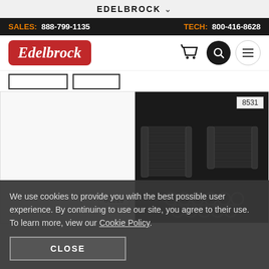EDELBROCK
SALES: 888-799-1135   TECH: 800-416-8628
[Figure (logo): Edelbrock logo - red rounded rectangle with white italic script text]
[Figure (illustration): Shopping cart icon, search icon, hamburger menu icon]
[Figure (photo): Product image area showing part number 60119]
[Figure (photo): Product image showing bolt kit part number 8531 - black bolts and washers/o-rings]
We use cookies to provide you with the best possible user experience. By continuing to use our site, you agree to their use. To learn more, view our Cookie Policy.
CLOSE